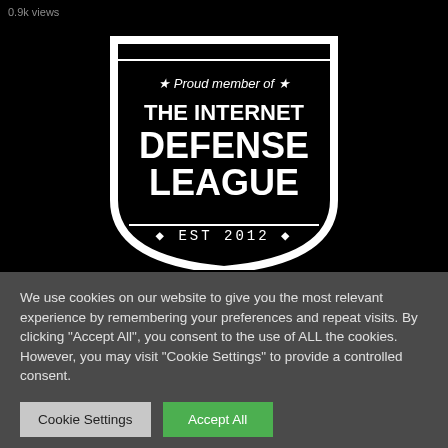0.9k views
[Figure (logo): Internet Defense League shield badge with text: 'Proud member of THE INTERNET DEFENSE LEAGUE EST 2012']
We use cookies on our website to give you the most relevant experience by remembering your preferences and repeat visits. By clicking "Accept All", you consent to the use of ALL the cookies. However, you may visit "Cookie Settings" to provide a controlled consent.
Cookie Settings
Accept All